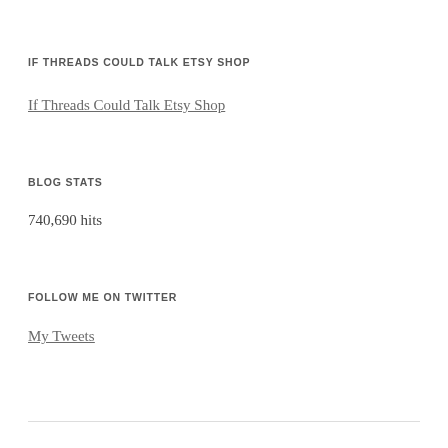IF THREADS COULD TALK ETSY SHOP
If Threads Could Talk Etsy Shop
BLOG STATS
740,690 hits
FOLLOW ME ON TWITTER
My Tweets